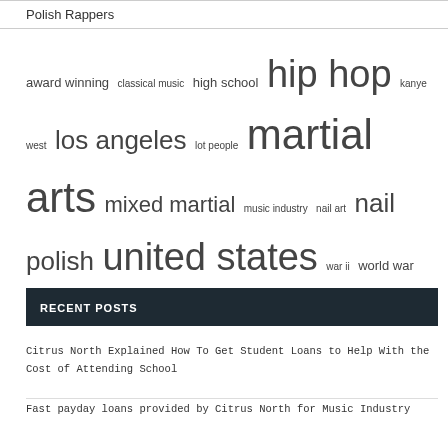Polish Rappers
award winning  classical music  high school  hip hop  kanye west  los angeles  lot people  martial arts  mixed martial  music industry  nail art  nail polish  united states  war ii  world war
RECENT POSTS
Citrus North Explained How To Get Student Loans to Help With the Cost of Attending School
Fast payday loans provided by Citrus North for Music Industry